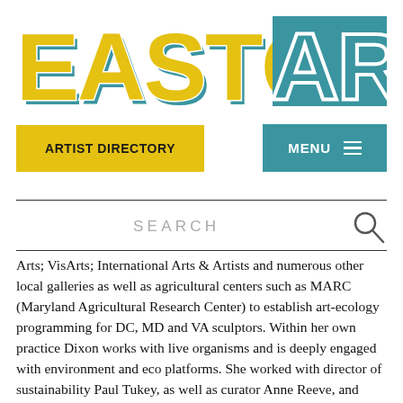[Figure (logo): EastCityArt logo in bold stylized letters with yellow/gold fill and teal/blue shadow effect, 'ART' in white outline on teal background]
ARTIST DIRECTORY
MENU ≡
SEARCH
Arts; VisArts; International Arts & Artists and numerous other local galleries as well as agricultural centers such as MARC (Maryland Agricultural Research Center) to establish art-ecology programming for DC, MD and VA sculptors. Within her own practice Dixon works with live organisms and is deeply engaged with environment and eco platforms. She worked with director of sustainability Paul Tukey, as well as curator Anne Reeve, and registrar Gabi Mizes at the Glenstone Foundation to coordinating programming pertaining to art and eco intersections. As curatorial